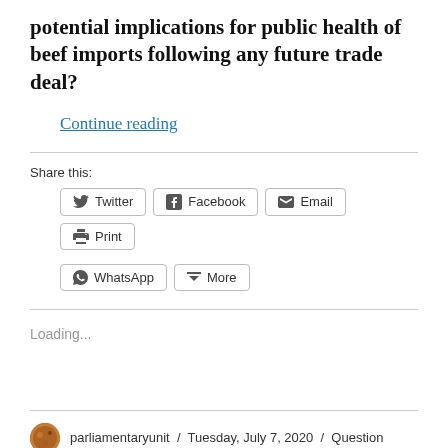potential implications for public health of beef imports following any future trade deal?
Continue reading
Share this:
Twitter
Facebook
Email
Print
WhatsApp
More
Loading...
parliamentaryunit / Tuesday, July 7, 2020 / Question